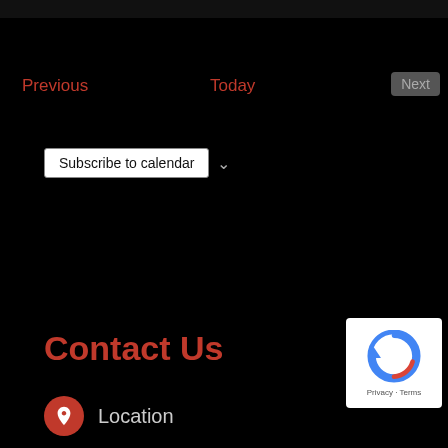Previous
Today
Next
Subscribe to calendar
Contact Us
Location
[Figure (logo): Google reCAPTCHA badge with logo and Privacy - Terms links]